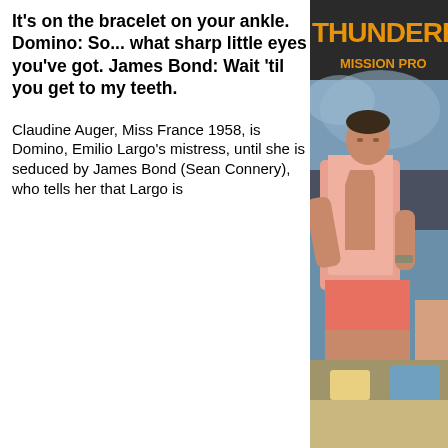It's on the bracelet on your ankle. Domino: So... what sharp little eyes you've got. James Bond: Wait 'til you get to my teeth.
Claudine Auger, Miss France 1958, is Domino, Emilio Largo's mistress, until she is seduced by James Bond (Sean Connery), who tells her that Largo is
[Figure (photo): Thunderball movie promotional image showing Sean Connery as James Bond sitting on a beach in a pink shirt, with the Thunderball Mission Pro... title text in orange at the top]